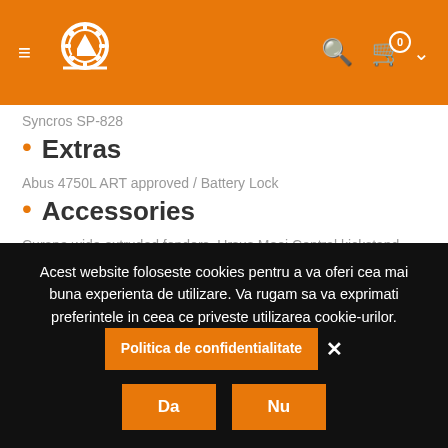Navigation bar with logo, menu icon, search, cart (0), and chevron
Syncros SP-828
Extras
Abus 4750L ART approved / Battery Lock
Accessories
Curana wide extruded fenders, Ursus Mooi Central kickstand
Approx weights in KG
27.50
Approx weights in LBS
Acest website foloseste cookies pentru a va oferi cea mai buna experienta de utilizare. Va rugam sa va exprimati preferintele in ceea ce priveste utilizarea cookie-urilor. Politica de confidentialitate Da Nu